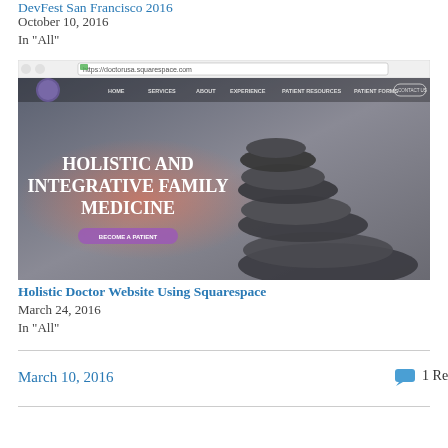October 10, 2016
In "All"
[Figure (screenshot): Screenshot of a Squarespace website for 'Holistic and Integrative Family Medicine' showing stacked stones on a dark background with navigation menu and 'Become a Patient' button]
Holistic Doctor Website Using Squarespace
March 24, 2016
In "All"
March 10, 2016
1 Reply